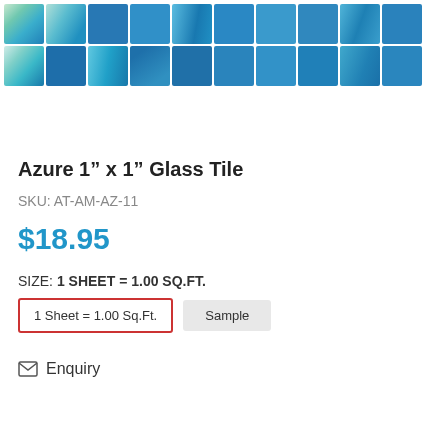[Figure (photo): Two rows of blue glass mosaic tiles in various shades of azure and iridescent teal/blue tones arranged in a grid pattern]
Azure 1” x 1” Glass Tile
SKU: AT-AM-AZ-11
$18.95
SIZE: 1 SHEET = 1.00 SQ.FT.
1 Sheet = 1.00 Sq.Ft.
Sample
Enquiry